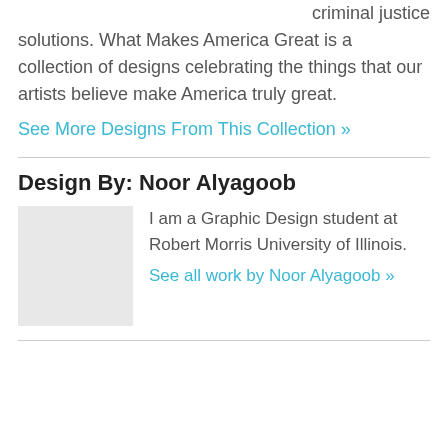criminal justice solutions. What Makes America Great is a collection of designs celebrating the things that our artists believe make America truly great. See More Designs From This Collection »
Design By: Noor Alyagoob
I am a Graphic Design student at Robert Morris University of Illinois. See all work by Noor Alyagoob »